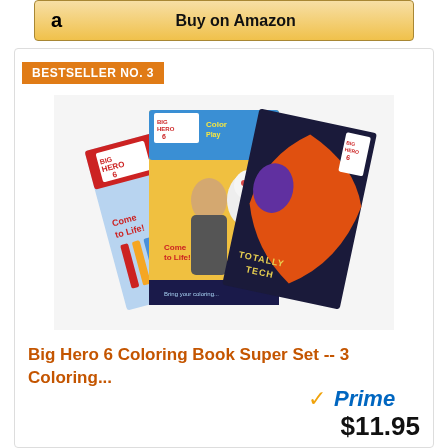[Figure (screenshot): Amazon 'Buy on Amazon' button with Amazon logo on left and text 'Buy on Amazon' centered, gold/yellow gradient background with border]
BESTSELLER NO. 3
[Figure (photo): Big Hero 6 coloring book set showing three coloring books fanned out — one with crayons and 'Come to Life!' text, one showing Hiro and Baymax characters with 'Come to Life!' text, and one 'Totally Tech' edition with action hero characters on orange/dark background. All feature Disney Big Hero 6 branding.]
Big Hero 6 Coloring Book Super Set -- 3 Coloring...
[Figure (logo): Amazon Prime badge with orange checkmark and blue italic 'Prime' text]
$11.95